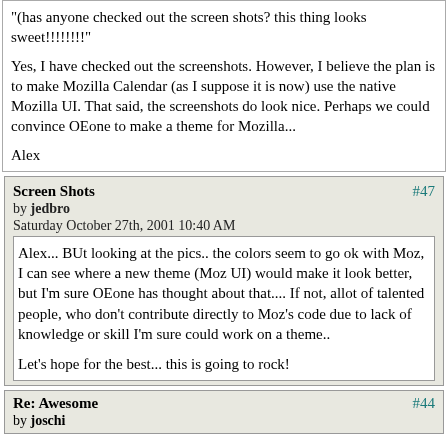"(has anyone checked out the screen shots? this thing looks sweet!!!!!!!!"

Yes, I have checked out the screenshots. However, I believe the plan is to make Mozilla Calendar (as I suppose it is now) use the native Mozilla UI. That said, the screenshots do look nice. Perhaps we could convince OEone to make a theme for Mozilla...

Alex
Screen Shots #47 by jedbro Saturday October 27th, 2001 10:40 AM
Alex... BUt looking at the pics.. the colors seem to go ok with Moz, I can see where a new theme (Moz UI) would make it look better, but I'm sure OEone has thought about that.... If not, allot of talented people, who don't contribute directly to Moz's code due to lack of knowledge or skill I'm sure could work on a theme..

Let's hope for the best... this is going to rock!
Re: Awesome #44 by joschi